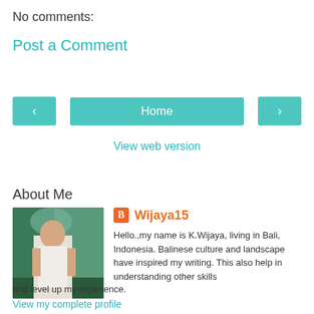No comments:
Post a Comment
Home
View web version
About Me
Wijaya15
Hello.,my name is K.Wijaya, living in Bali, Indonesia. Balinese culture and landscape have inspired my writing. This also help in understanding other skills and level up my experience.
View my complete profile